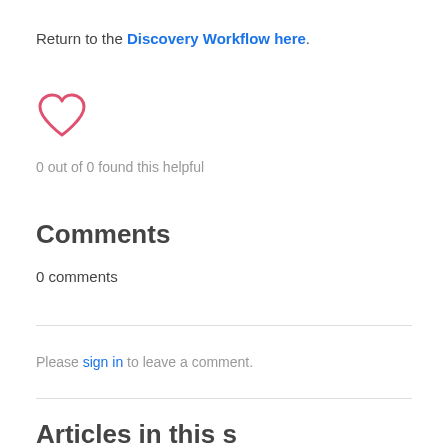Return to the Discovery Workflow here.
[Figure (illustration): Heart icon outline in red/pink color]
0 out of 0 found this helpful
Comments
0 comments
Please sign in to leave a comment.
Articles in this section